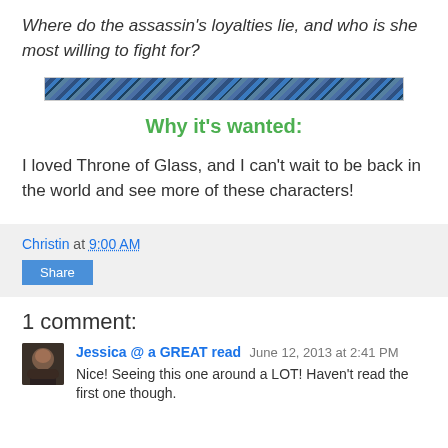Where do the assassin's loyalties lie, and who is she most willing to fight for?
[Figure (illustration): Decorative horizontal divider with blue water/wave texture pattern]
Why it's wanted:
I loved Throne of Glass, and I can't wait to be back in the world and see more of these characters!
Christin at 9:00 AM
Share
1 comment:
Jessica @ a GREAT read  June 12, 2013 at 2:41 PM
Nice! Seeing this one around a LOT! Haven't read the first one though.